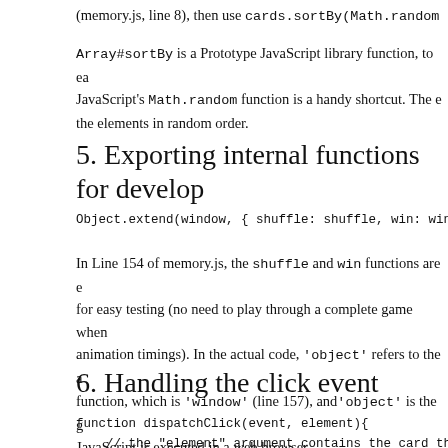(memory.js, line 8), then use cards.sortBy(Math.random
Array#sortBy is a Prototype JavaScript library function, to ea JavaScript's Math.random function is a handy shortcut. The e the elements in random order.
5. Exporting internal functions for develop
Object.extend(window, { shuffle: shuffle, win: win });
In Line 154 of memory.js, the shuffle and win functions are e for easy testing (no need to play through a complete game when animation timings). In the actual code, 'object' refers to the a function, which is 'window' (line 157), and 'object' is the g JavaScript is executed in a web browser.
6. Handling the click event
function dispatchClick(event, element){
    // the "element" argument contains the card that was cli